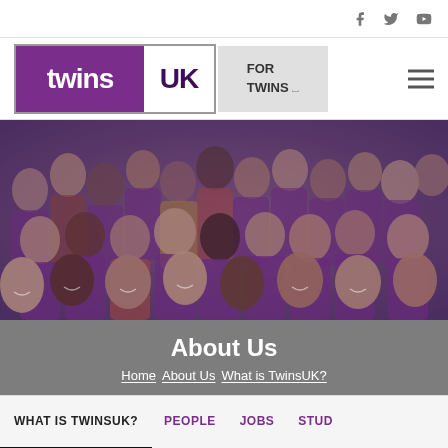[Figure (logo): TwinsUK logo — purple background with white 'twins' text, white section with dark purple 'UK' text, inside a border box]
FOR TWINS ↗
[Figure (photo): Large group photo of smiling people, many wearing purple TwinsUK t-shirts, dimmed with purple overlay]
About Us
Home  About Us  What is TwinsUK?
WHAT IS TWINSUK?   PEOPLE   JOBS   STUD